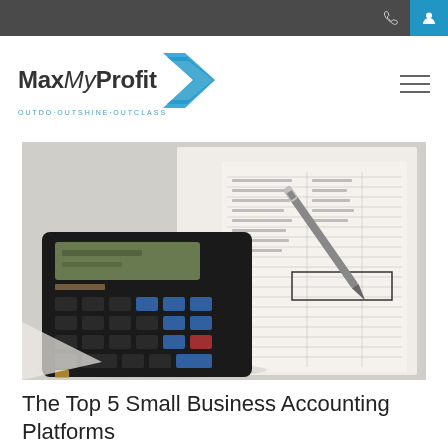MaxMyProfit — OUTDO·OUTSHINE·OUTCLASS
[Figure (photo): A black calculator, a pen, and printed financial spreadsheets with handwritten notes on a white desk surface]
The Top 5 Small Business Accounting Platforms